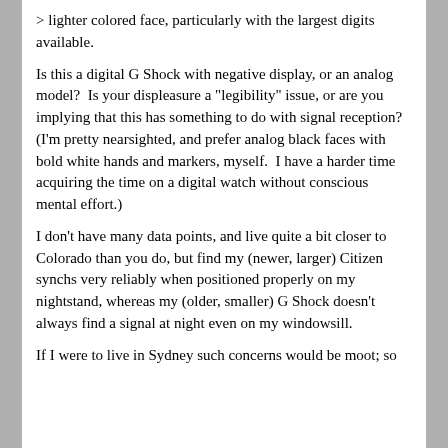> lighter colored face, particularly with the largest digits available.
Is this a digital G Shock with negative display, or an analog model?  Is your displeasure a "legibility" issue, or are you implying that this has something to do with signal reception?  (I'm pretty nearsighted, and prefer analog black faces with bold white hands and markers, myself.  I have a harder time acquiring the time on a digital watch without conscious mental effort.)
I don't have many data points, and live quite a bit closer to Colorado than you do, but find my (newer, larger) Citizen synchs very reliably when positioned properly on my nightstand, whereas my (older, smaller) G Shock doesn't always find a signal at night even on my windowsill.
If I were to live in Sydney such concerns would be moot; so